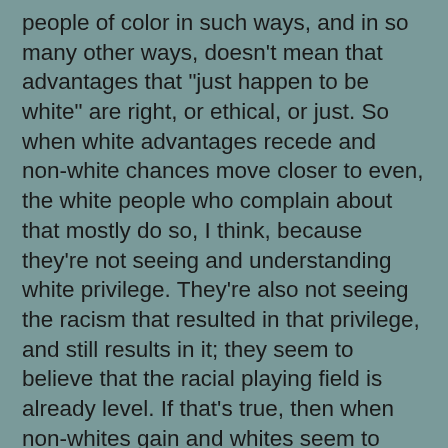people of color in such ways, and in so many other ways, doesn't mean that advantages that "just happen to be white" are right, or ethical, or just. So when white advantages recede and non-white chances move closer to even, the white people who complain about that mostly do so, I think, because they're not seeing and understanding white privilege. They're also not seeing the racism that resulted in that privilege, and still results in it; they seem to believe that the racial playing field is already level. If that's true, then when non-whites gain and whites seem to lose as a result, those whites who complain about that don't do so because they realize that their racial group is losing ill-gotten gains. They instead complain because they think they're being cheated.
I think I'm just scratching the surface here of the many causes of this common white tendency -- the resentful and fearful belief that gains for non-white people come at the expense of white people. It's complicated, in part because while some gains for people of color actually do come at the expense of white people, others do not. And again, many (all?) of the gains that white people lose when non-white